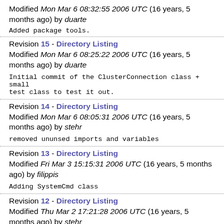Modified Mon Mar 6 08:32:55 2006 UTC (16 years, 5 months ago) by duarte
Added package tools.
Revision 15 - Directory Listing
Modified Mon Mar 6 08:25:22 2006 UTC (16 years, 5 months ago) by duarte
Initial commit of the ClusterConnection class + small test class to test it out.
Revision 14 - Directory Listing
Modified Mon Mar 6 08:05:31 2006 UTC (16 years, 5 months ago) by stehr
removed ununsed imports and variables
Revision 13 - Directory Listing
Modified Fri Mar 3 15:15:31 2006 UTC (16 years, 5 months ago) by filippis
Adding SystemCmd class
Revision 12 - Directory Listing
Modified Thu Mar 2 17:21:28 2006 UTC (16 years, 5 months ago) by stehr